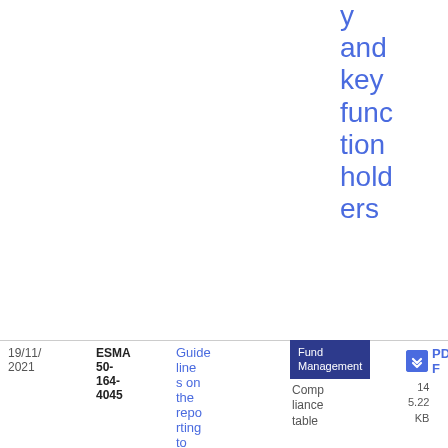y and key function holders
| Date | Reference | Title | Category | Document |
| --- | --- | --- | --- | --- |
| 19/11/2021 | ESMA 50-164-4045 | Guidelines on the reporting to Competent Authorities unde | Fund Management / Compliance table | PDF 14 5.22 KB |